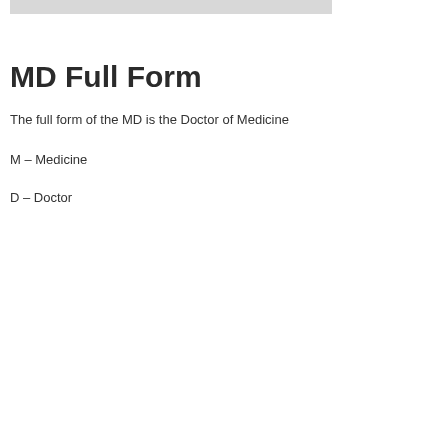[Figure (other): Gray horizontal bar at top of page]
MD Full Form
The full form of the MD is the Doctor of Medicine
M – Medicine
D – Doctor